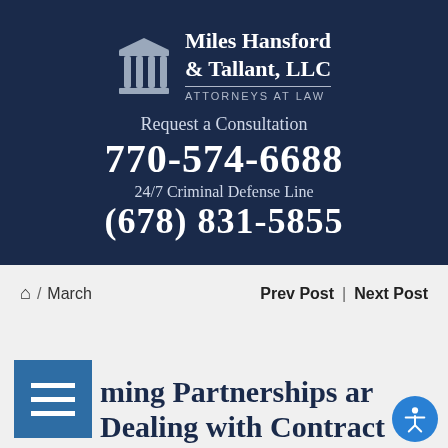[Figure (logo): Miles Hansford & Tallant, LLC Attorneys at Law logo with pillar icon on dark navy background, showing consultation phone number 770-574-6688 and 24/7 Criminal Defense Line (678) 831-5855]
Home / March   Prev Post | Next Post
...ming Partnerships ar... Dealing with Contract...